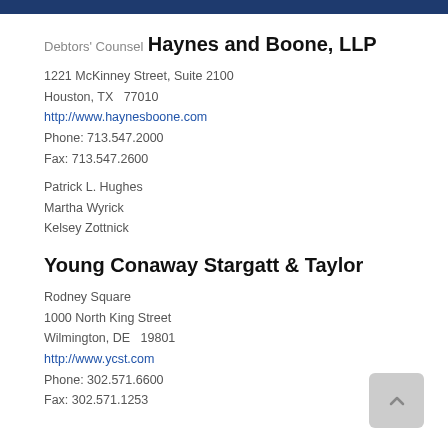Debtors' Counsel
Haynes and Boone, LLP
1221 McKinney Street, Suite 2100
Houston, TX   77010
http://www.haynesboone.com
Phone: 713.547.2000
Fax: 713.547.2600
Patrick L. Hughes
Martha Wyrick
Kelsey Zottnick
Young Conaway Stargatt & Taylor
Rodney Square
1000 North King Street
Wilmington, DE   19801
http://www.ycst.com
Phone: 302.571.6600
Fax: 302.571.1253